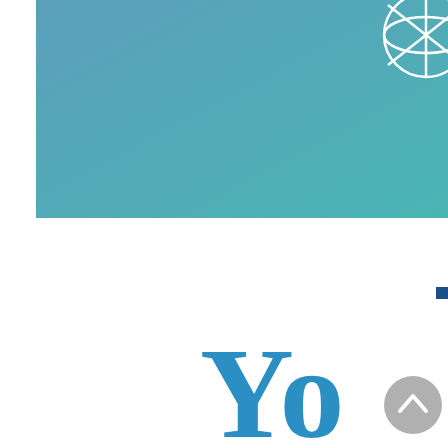[Figure (illustration): Blue-teal gradient banner/header with a white globe/network logo icon in the top right corner]
[Figure (illustration): Small dark blue square decorative element on the right side, mid-page]
Yo
[Figure (illustration): Grey circular back-to-top arrow button in the bottom right area]